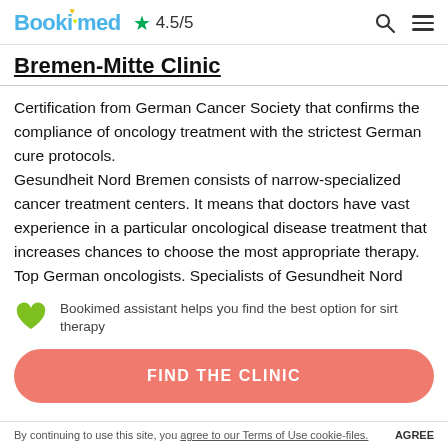Bookimed ★ 4.5/5
Bremen-Mitte Clinic
Certification from German Cancer Society that confirms the compliance of oncology treatment with the strictest German cure protocols.
Gesundheit Nord Bremen consists of narrow-specialized cancer treatment centers. It means that doctors have vast experience in a particular oncological disease treatment that increases chances to choose the most appropriate therapy.
Top German oncologists. Specialists of Gesundheit Nord
Bookimed assistant helps you find the best option for sirt therapy
FIND THE CLINIC
By continuing to use this site, you agree to our Terms of Use cookie-files. AGREE